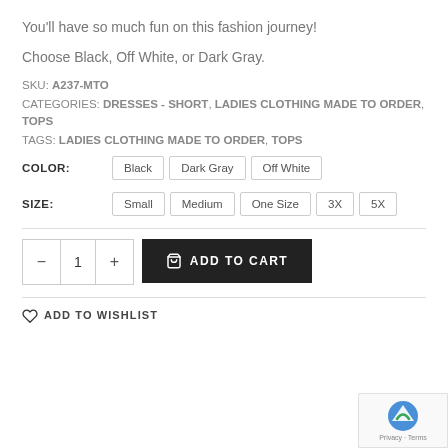You'll have so much fun on this fashion journey!
Choose Black, Off White, or Dark Gray.
SKU: A237-MTO
CATEGORIES: DRESSES - SHORT, LADIES CLOTHING MADE TO ORDER, TOPS
TAGS: LADIES CLOTHING MADE TO ORDER, TOPS
COLOR: Black  Dark Gray  Off White
SIZE: Small  Medium  One Size  3X  5X
— 1 +  ADD TO CART
ADD TO WISHLIST